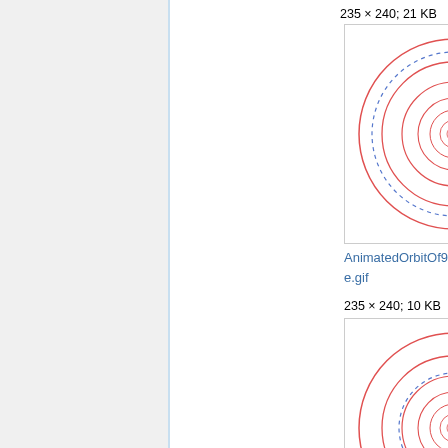235 × 240; 21 KB
[Figure (illustration): Orbital diagram showing concentric red elliptical orbits around a central point, with a blue dashed circular orbit and a small blue dot, white background with gray border — AnimatedOrbitOf9908Aue.gif]
AnimatedOrbitOf9908Aue.gif
235 × 240; 10 KB
[Figure (illustration): Orbital diagram showing concentric red elliptical orbits around a central point, with a blue dashed circular orbit and a small blue dot, white background with gray border — AnimatedOrbitOf9909Eschenbach.gif]
AnimatedOrbitOf9909Eschenbach.gif